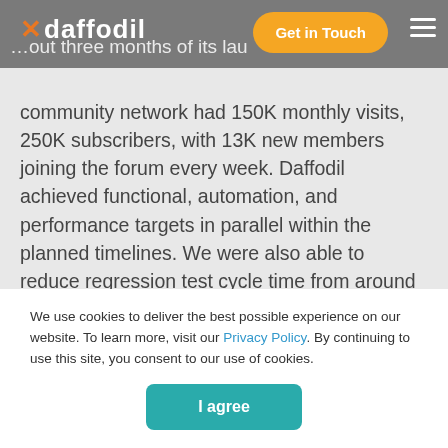daffodil | Get in Touch
...out three months of its launch, community network had 150K monthly visits, 250K subscribers, with 13K new members joining the forum every week. Daffodil achieved functional, automation, and performance targets in parallel within the planned timelines. We were also able to reduce regression test cycle time from around 15 days to <2 days through automation testing. It also reduced the error rate by 99% resulting in reduced cost & time associated with project testing. Shorter regression cycles due to automation resulted in reduced time-to-market. It also helped the client to
We use cookies to deliver the best possible experience on our website. To learn more, visit our Privacy Policy. By continuing to use this site, you consent to our use of cookies.
I agree